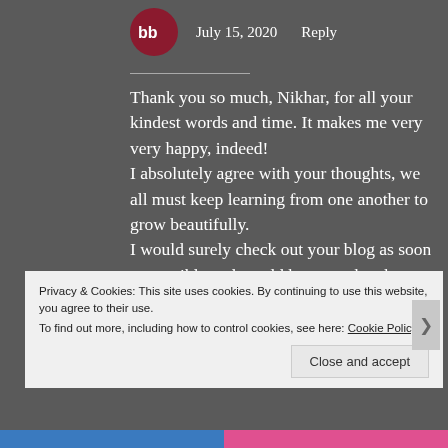[Figure (logo): Circular red logo with 'bb' letters and 'Bubbu's Bubble' text]
July 15, 2020   Reply
Thank you so much, Nikhar, for all your kindest words and time. It makes me very very happy, indeed!
I absolutely agree with your thoughts, we all must keep learning from one another to grow beautifully.
I would surely check out your blog as soon as possible and would be more than happy to do
Privacy & Cookies: This site uses cookies. By continuing to use this website, you agree to their use.
To find out more, including how to control cookies, see here: Cookie Policy
Close and accept